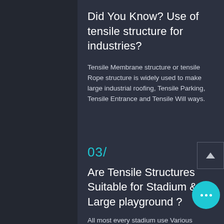Did You Know? Use of tensile structure for industries?
Tensile Membrane structure or tensile Rope structure is widely used to make large industrial roofing, Tensile Parking, Tensile Entrance and Tensile Will ways.
03/
Are Tensile Structures Suitable for Stadium & Large playground ?
All most every stadium use Various